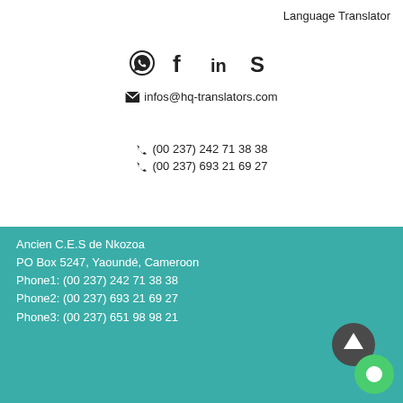Language Translator
[Figure (illustration): Social media icons: WhatsApp, Facebook, LinkedIn, Skype]
✉ infos@hq-translators.com
☎ (00 237) 242 71 38 38
☎ (00 237) 693 21 69 27
Ancien C.E.S de Nkozoa
PO Box 5247, Yaoundé, Cameroon
Phone1: (00 237) 242 71 38 38
Phone2: (00 237) 693 21 69 27
Phone3: (00 237) 651 98 98 21
[Figure (illustration): Social media icons on teal background: WhatsApp, Facebook, LinkedIn, Skype]
SERVICES